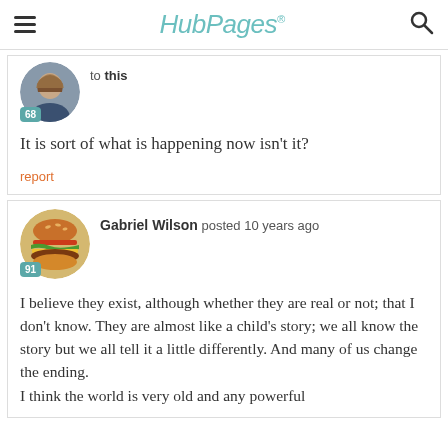HubPages
to this
68
It is sort of what is happening now isn't it?
report
Gabriel Wilson posted 10 years ago
91
I believe they exist, although whether they are real or not; that I don't know. They are almost like a child's story; we all know the story but we all tell it a little differently. And many of us change the ending.
I think the world is very old and any powerful